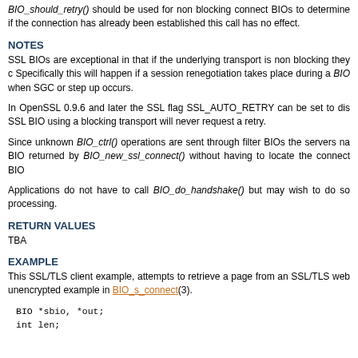BIO_should_retry() should be used for non blocking connect BIOs to determine if the connection has already been established this call has no effect.
NOTES
SSL BIOs are exceptional in that if the underlying transport is non blocking they can still request a retry. Specifically this will happen if a session renegotiation takes place during a BIO_read() operation or when SGC or step up occurs.
In OpenSSL 0.9.6 and later the SSL flag SSL_AUTO_RETRY can be set to disable this behaviour for SSL BIO using a blocking transport will never request a retry.
Since unknown BIO_ctrl() operations are sent through filter BIOs the servers name can be set using the BIO returned by BIO_new_ssl_connect() without having to locate the connect BIO in the chain.
Applications do not have to call BIO_do_handshake() but may wish to do so to separate the handshake processing.
RETURN VALUES
TBA
EXAMPLE
This SSL/TLS client example, attempts to retrieve a page from an SSL/TLS web server. The unencrypted example in BIO_s_connect(3).
BIO *sbio, *out;
int len;